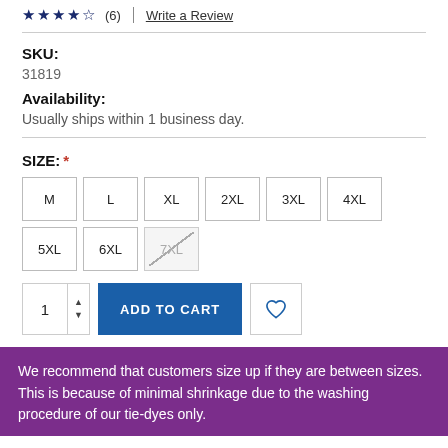★★★★☆ (6) | Write a Review
SKU:
31819
Availability:
Usually ships within 1 business day.
SIZE: *
M
L
XL
2XL
3XL
4XL
5XL
6XL
7XL (unavailable)
ADD TO CART
We recommend that customers size up if they are between sizes. This is because of minimal shrinkage due to the washing procedure of our tie-dyes only.